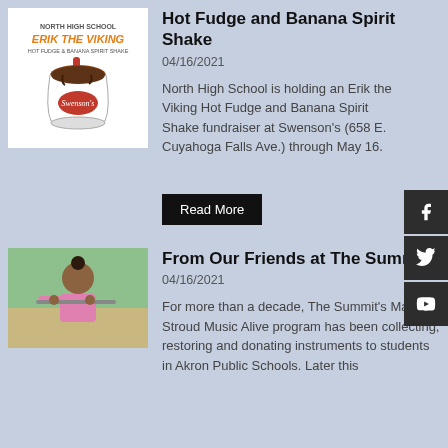[Figure (illustration): North High School Erik the Viking Hot Fudge and Banana Spirit Shake promotional image with a Swenson's milkshake cup]
Hot Fudge and Banana Spirit Shake
04/16/2021
North High School is holding an Erik the Viking Hot Fudge and Banana Spirit Shake fundraiser at Swenson's (658 E. Cuyahoga Falls Ave.) through May 16.
Read More
[Figure (photo): Young girl in pink top playing a musical instrument, green background]
From Our Friends at The Summit
04/16/2021
For more than a decade, The Summit's Marilyn Stroud Music Alive program has been collecting, restoring and donating instruments to students in Akron Public Schools. Later this